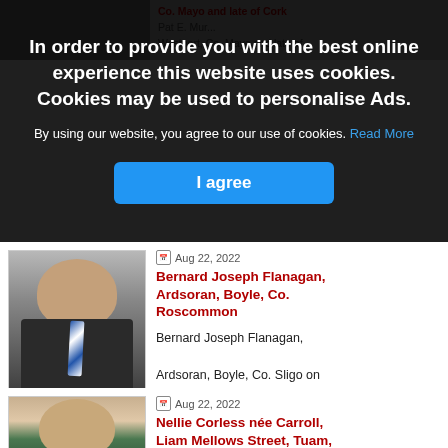[Figure (screenshot): Cookie consent overlay on a website showing obituary listings. The overlay has a dark semi-transparent background with white bold text: 'In order to provide you with the best online experience this website uses cookies. Cookies may be used to personalise Ads.' followed by 'By using our website, you agree to our use of cookies. Read More' and a blue 'I agree' button.]
Co. Mayo and late of Cork
Westport, Co. Mayo and late of
Aug 22, 2022
Bernard Joseph Flanagan, Ardsoran, Boyle, Co. Roscommon
Bernard Joseph Flanagan,
Ardsoran, Boyle, Co. Sligo on 21st of August 2022 -…
Aug 22, 2022
Nellie Corless née Carroll, Liam Mellows Street, Tuam, Co. Galway
Nellie Corless née Carroll,